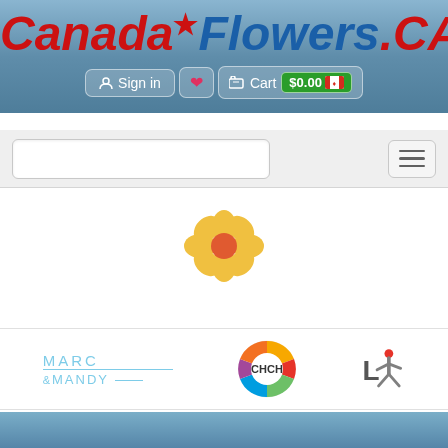CanadaFlowers.CA — Sign in | Cart $0.00
[Figure (screenshot): CanadaFlowers.ca website header with logo, sign in button, heart/wishlist button, cart button showing $0.00, navigation search bar, hamburger menu, a flower emoji/icon, and footer logos including Marc & Mandy, CHCH, and LI network logos]
Sign in
Cart $0.00
[Figure (logo): Marc & Mandy logo in light blue text]
[Figure (logo): CHCH TV logo — circular multicolored logo with CHCH text in center]
[Figure (logo): LI network logo — stylized figure in red and gray]